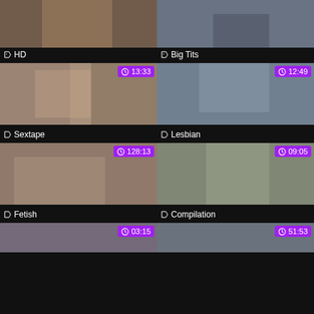[Figure (photo): Partial video thumbnail top-left, clipped at top]
HD
[Figure (photo): Partial video thumbnail top-right, clipped at top]
Big Tits
[Figure (photo): Video thumbnail with duration 13:33, tagged Sextape]
13:33
Sextape
[Figure (photo): Video thumbnail with duration 12:49, tagged Lesbian]
12:49
Lesbian
[Figure (photo): Video thumbnail with duration 128:13, tagged Fetish]
128:13
Fetish
[Figure (photo): Video thumbnail with duration 09:05, tagged Compilation]
09:05
Compilation
[Figure (photo): Partial video thumbnail bottom-left with duration 03:15, clipped]
03:15
[Figure (photo): Partial video thumbnail bottom-right with duration 51:53, clipped]
51:53